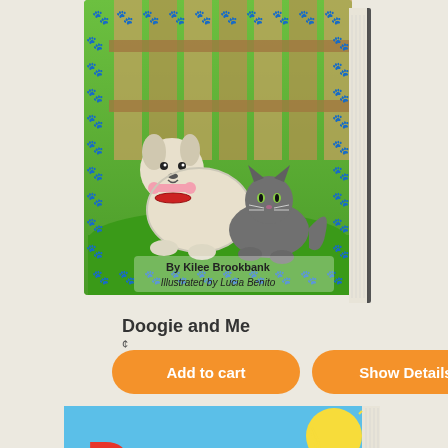[Figure (photo): Children's book cover: 'Doogie and Me' by Kilee Brookbank, illustrated by Lucia Benito. Shows a white dog holding a pink bone and a gray cat, surrounded by blue paw prints on green background with wooden fence.]
Doogie and Me
¢
Add to cart
Show Details
[Figure (photo): Children's book cover partially visible: 'Drew is just like you!' with colorful text on a blue sky background with sun.]